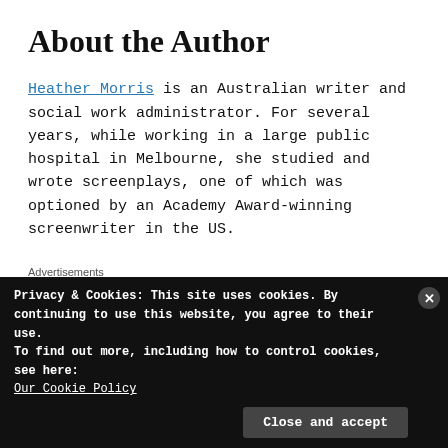About the Author
Heather Morris is an Australian writer and social work administrator. For several years, while working in a large public hospital in Melbourne, she studied and wrote screenplays, one of which was optioned by an Academy Award-winning screenwriter in the US.
Advertisements
[Figure (other): Longreads advertisement banner with red background. Text: LONGREADS — The best stories on the web – ours, and everyone else's.]
Privacy & Cookies: This site uses cookies. By continuing to use this website, you agree to their use.
To find out more, including how to control cookies, see here:
Our Cookie Policy
Close and accept